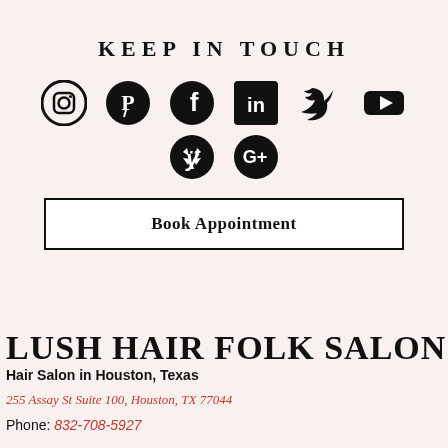KEEP IN TOUCH
[Figure (illustration): Row of social media icons: Instagram, Pinterest, Facebook, LinkedIn, Twitter, YouTube, Yelp, Google+]
Book Appointment
LUSH HAIR FOLK SALON
Hair Salon in Houston, Texas
255 Assay St Suite 100, Houston, TX 77044
Phone: 832-708-5927